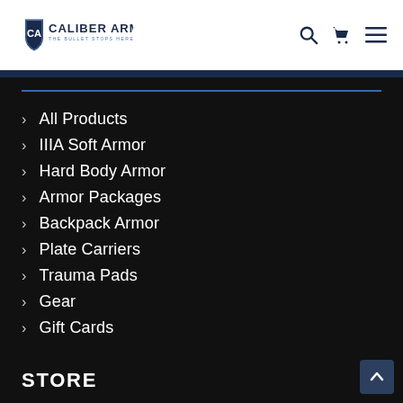CALIBER ARMOR — THE BULLET STOPS HERE
All Products
IIIA Soft Armor
Hard Body Armor
Armor Packages
Backpack Armor
Plate Carriers
Trauma Pads
Gear
Gift Cards
STORE